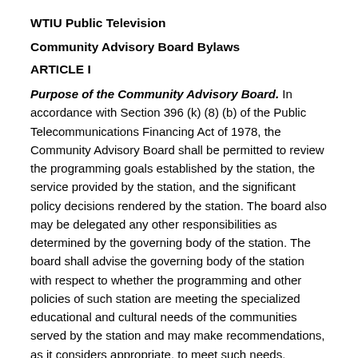WTIU Public Television
Community Advisory Board Bylaws
ARTICLE I
Purpose of the Community Advisory Board. In accordance with Section 396 (k) (8) (b) of the Public Telecommunications Financing Act of 1978, the Community Advisory Board shall be permitted to review the programming goals established by the station, the service provided by the station, and the significant policy decisions rendered by the station. The board also may be delegated any other responsibilities as determined by the governing body of the station. The board shall advise the governing body of the station with respect to whether the programming and other policies of such station are meeting the specialized educational and cultural needs of the communities served by the station and may make recommendations, as it considers appropriate, to meet such needs.